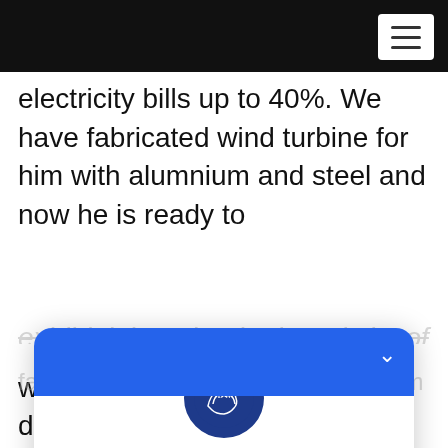electricity bills up to 40%. We have fabricated wind turbine for him with alumnium and steel and now he is ready to
[Figure (screenshot): A chat/support widget overlay showing Al Ameen Sales Consultants with logo, tagline 'We are ready to serve you', and two contacts: Ranjan Patil (Sales Consultant) and Habib Na]
which can produce 36 kw per day.